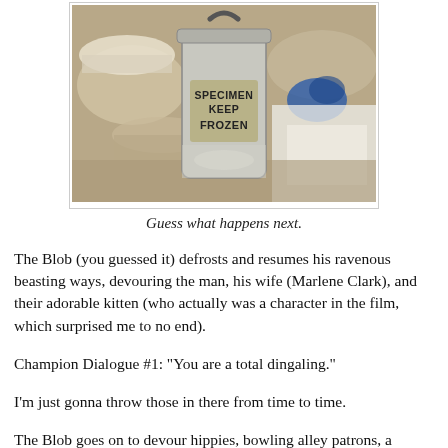[Figure (photo): A metal canister labeled 'SPECIMEN KEEP FROZEN' sitting on a surface with various objects including bowls and cloth in the background.]
Guess what happens next.
The Blob (you guessed it) defrosts and resumes his ravenous beasting ways, devouring the man, his wife (Marlene Clark), and their adorable kitten (who actually was a character in the film, which surprised me to no end).
Champion Dialogue #1: "You are a total dingaling."
I'm just gonna throw those in there from time to time.
The Blob goes on to devour hippies, bowling alley patrons, a